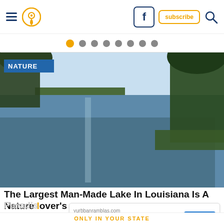Navigation bar with hamburger menu, pin location icon, Facebook button, subscribe button, search icon
[Figure (other): Horizontal dot navigation with 8 dots; first dot is orange/active, remaining 7 are gray]
[Figure (photo): Scenic photo of a large calm lake with reflections of trees, green forest on the right and left edges, clear blue sky, with a blue 'NATURE' label badge in the upper left corner]
The Largest Man-Made Lake In Louisiana Is A Nature lover's Paradise
[Figure (other): Advertisement overlay: yurbbanramblas.com - Much more than a hotel - OPEN button]
ONLY IN YOUR STATE